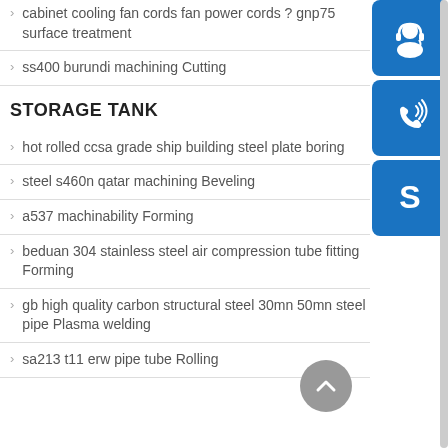cabinet cooling fan cords fan power cords ? gnp75 surface treatment
ss400 burundi machining Cutting
STORAGE TANK
hot rolled ccsa grade ship building steel plate boring
steel s460n qatar machining Beveling
a537 machinability Forming
beduan 304 stainless steel air compression tube fitting Forming
gb high quality carbon structural steel 30mn 50mn steel pipe Plasma welding
sa213 t11 erw pipe tube Rolling
[Figure (infographic): Three blue rounded-square icons on the right sidebar: headset/customer support icon, phone with signal waves icon, Skype 'S' logo icon]
[Figure (other): Gray circular scroll-to-top arrow button]